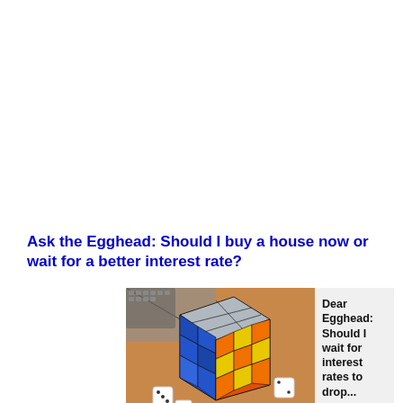Ask the Egghead: Should I buy a house now or wait for a better interest rate?
[Figure (photo): A card/thumbnail image featuring a Rubik's cube with colorful orange, yellow, blue, and gray faces surrounded by dice on a table, alongside text reading 'Dear Egghead: Should I wait for interest rates to drop...' and a snippet 'Dear Egghead: I'm almost ready to buy a house, but I'm worried about interest rates. Should I w...']